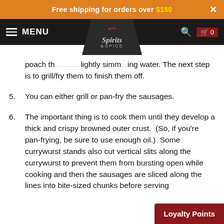Free shipping for orders over $150
MENU | Spirits & Spice logo | search | cart 0
poach th... ...lightly simmering water. The next step is to grill/fry them to finish them off.
5. You can either grill or pan-fry the sausages.
6. The important thing is to cook them until they develop a thick and crispy browned outer crust.  (So, if you're pan-frying, be sure to use enough oil.)  Some currywurst stands also cut vertical slits along the currywurst to prevent them from bursting open while cooking and then the sausages are sliced along the lines into bite-sized chunks before serving